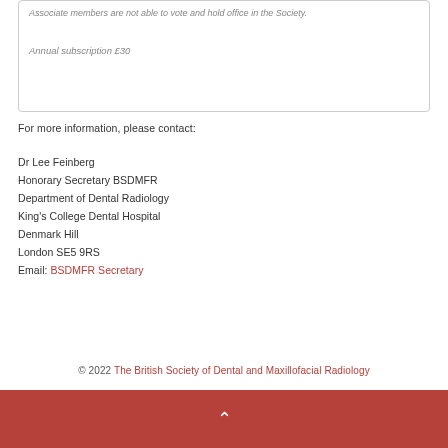Associate members are not able to vote and hold office in the Society.
Annual subscription £30
For more information, please contact:
Dr Lee Feinberg
Honorary Secretary BSDMFR
Department of Dental Radiology
King's College Dental Hospital
Denmark Hill
London SE5 9RS
Email: BSDMFR Secretary
© 2022 The British Society of Dental and Maxillofacial Radiology